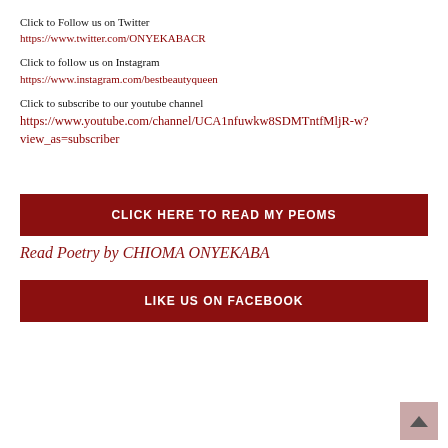Click to Follow us on Twitter
https://www.twitter.com/ONYEKABACR
Click to follow us on Instagram
https://www.instagram.com/bestbeautyqueen
Click to subscribe to our youtube channel
https://www.youtube.com/channel/UCA1nfuwkw8SDMTntfMljR-w?view_as=subscriber
CLICK HERE TO READ MY PEOMS
Read Poetry by CHIOMA ONYEKABA
LIKE US ON FACEBOOK